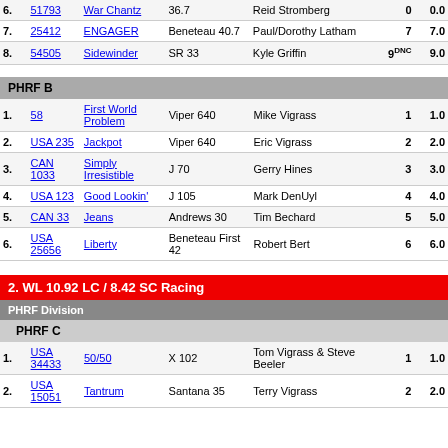| Place | Sail | Boat | Type | Skipper | R1 | Pts |
| --- | --- | --- | --- | --- | --- | --- |
| 6. | 51793 | War Chantz | 36.7 | Reid Stromberg | 0 | 0.0 |
| 7. | 25412 | ENGAGER | Beneteau 40.7 | Paul/Dorothy Latham | 7 | 7.0 |
| 8. | 54505 | Sidewinder | SR 33 | Kyle Griffin | 9/DNC | 9.0 |
PHRF B
| Place | Sail | Boat | Type | Skipper | R1 | Pts |
| --- | --- | --- | --- | --- | --- | --- |
| 1. | 58 | First World Problem | Viper 640 | Mike Vigrass | 1 | 1.0 |
| 2. | USA 235 | Jackpot | Viper 640 | Eric Vigrass | 2 | 2.0 |
| 3. | CAN 1033 | Simply Irresistible | J 70 | Gerry Hines | 3 | 3.0 |
| 4. | USA 123 | Good Lookin' | J 105 | Mark DenUyl | 4 | 4.0 |
| 5. | CAN 33 | Jeans | Andrews 30 | Tim Bechard | 5 | 5.0 |
| 6. | USA 25656 | Liberty | Beneteau First 42 | Robert Bert | 6 | 6.0 |
2. WL 10.92 LC / 8.42 SC Racing
PHRF Division
PHRF C
| Place | Sail | Boat | Type | Skipper | R1 | Pts |
| --- | --- | --- | --- | --- | --- | --- |
| 1. | USA 34433 | 50/50 | X 102 | Tom Vigrass & Steve Beeler | 1 | 1.0 |
| 2. | USA 15051 | Tantrum | Santana 35 | Terry Vigrass | 2 | 2.0 |